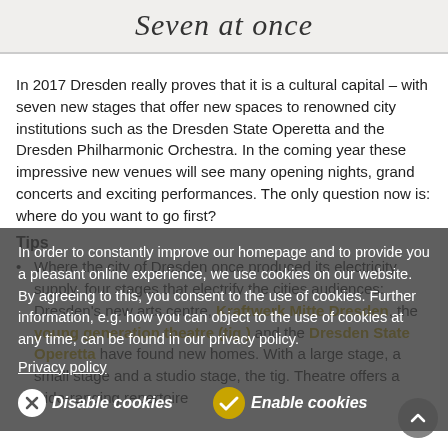Seven at once
In 2017 Dresden really proves that it is a cultural capital – with seven new stages that offer new spaces to renowned city institutions such as the Dresden State Operetta and the Dresden Philharmonic Orchestra. In the coming year these impressive new venues will see many opening nights, grand concerts and exciting performances. The only question now is: where do you want to go first?
Tips
Where the city of Dresden once produced its electricity supply, four stages that electrify the cities audiences: Dresden's new arts centre, Kraftwerk Mitte Dresden, the young generation theatre (tig.) and the Dresden State Operetta have found new homes. With a large stage, a small stage and a studio stage, the tig. Theatre offers a wide-ranging repertoire
In order to constantly improve our homepage and to provide you a pleasant online experience, we use cookies on our website. By agreeing to this, you consent to the use of cookies. Further information, e.g. how you can object to the use of cookies at any time, can be found in our privacy policy.
Privacy policy
Disable cookies
Enable cookies